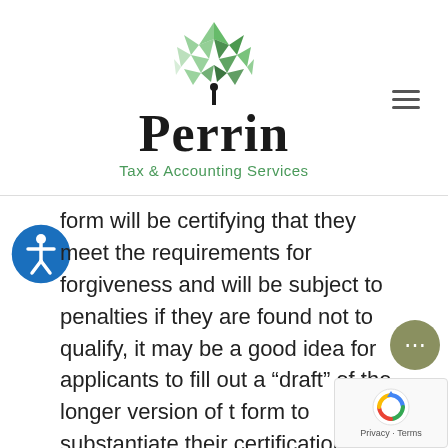[Figure (logo): Perrin Tax & Accounting Services logo — geometric green tree/leaf shape above the word 'Perrin' in bold serif, with 'Tax & Accounting Services' in green sans-serif below]
form will be certifying that they meet the requirements for forgiveness and will be subject to penalties if they are found not to qualify, it may be a good idea for applicants to fill out a “draft” of the longer version of the form to substantiate their certification as well as retain it with the business’s employment and expense records. The legislation requ